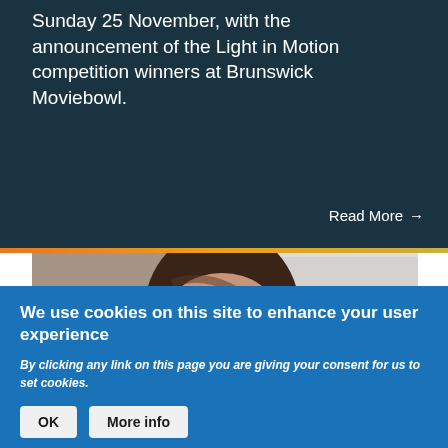Sunday 25 November, with the announcement of the Light in Motion competition winners at Brunswick Moviebowl.
Read More →
[Figure (photo): Close-up portrait of a middle-aged woman with brown hair, looking slightly upward, near a bright window]
We use cookies on this site to enhance your user experience
By clicking any link on this page you are giving your consent for us to set cookies.
OK | More info